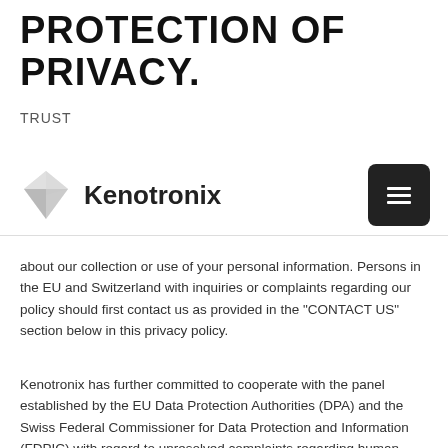PROTECTION OF PRIVACY.
TRUST
[Figure (logo): Kenotronix logo with diamond/gem icon and company name, plus hamburger menu button]
about our collection or use of your personal information. Persons in the EU and Switzerland with inquiries or complaints regarding our policy should first contact us as provided in the “CONTACT US” section below in this privacy policy.
Kenotronix has further committed to cooperate with the panel established by the EU Data Protection Authorities (DPA) and the Swiss Federal Commissioner for Data Protection and Information (FDPIC) with regard to unresolved complaints regarding human resources data transferred from the EU and Switzerland within